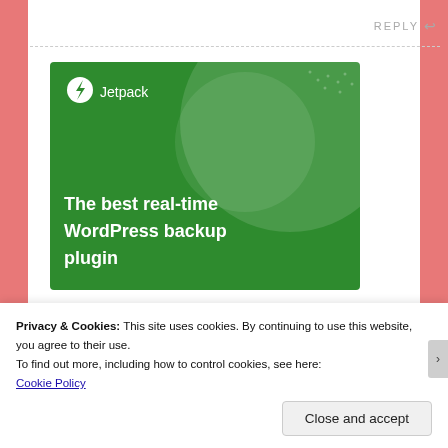REPLY
[Figure (illustration): Jetpack plugin advertisement banner on green background with white circle decorations, Jetpack logo at top left, and bold white text: 'The best real-time WordPress backup plugin']
Privacy & Cookies: This site uses cookies. By continuing to use this website, you agree to their use.
To find out more, including how to control cookies, see here:
Cookie Policy
Close and accept